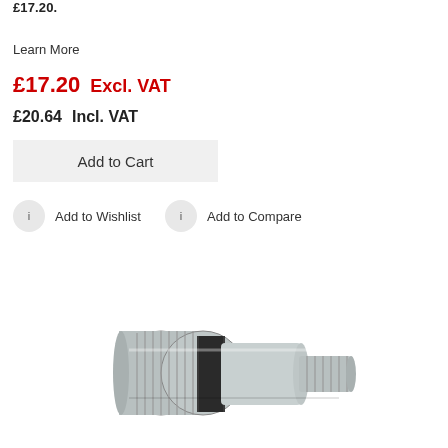£17.20  Excl. VAT
£20.64  Incl. VAT
Learn More
Add to Cart
Add to Wishlist
Add to Compare
[Figure (photo): Stainless steel hydraulic quick-release coupling fitting with knurled body and threaded male end]